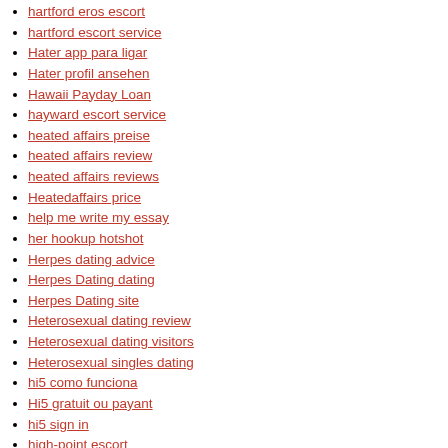hartford eros escort
hartford escort service
Hater app para ligar
Hater profil ansehen
Hawaii Payday Loan
hayward escort service
heated affairs preise
heated affairs review
heated affairs reviews
Heatedaffairs price
help me write my essay
her hookup hotshot
Herpes dating advice
Herpes Dating dating
Herpes Dating site
Heterosexual dating review
Heterosexual dating visitors
Heterosexual singles dating
hi5 como funciona
Hi5 gratuit ou payant
hi5 sign in
high-point escort
hillsboro escort near me
Hindu dating site free
hinge dating